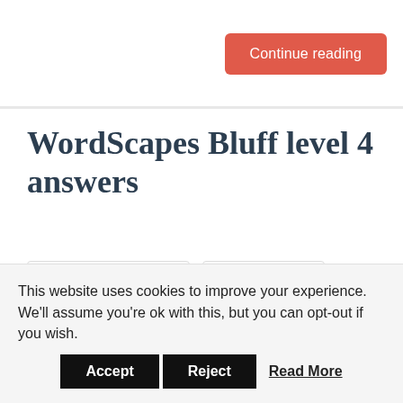Continue reading
WordScapes Bluff level 4 answers
DECEMBER 28, 2017
0 COMMENTS
POSTED IN: WORDSCAPES
This website uses cookies to improve your experience. We’ll assume you’re ok with this, but you can opt-out if you wish.
Accept
Reject
Read More